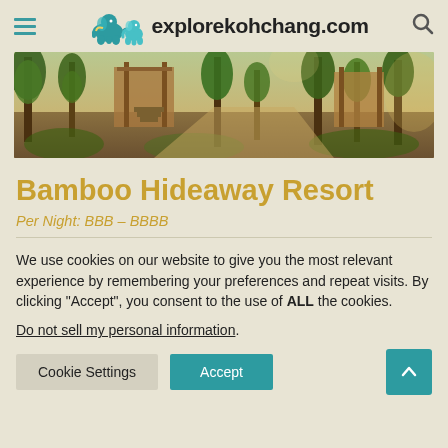explorekohchang.com
[Figure (photo): Outdoor jungle resort scene with tropical trees, wooden walkways and structures. Green foliage and warm lighting.]
Bamboo Hideaway Resort
Per Night: BBB – BBBB
We use cookies on our website to give you the most relevant experience by remembering your preferences and repeat visits. By clicking "Accept", you consent to the use of ALL the cookies.
Do not sell my personal information.
Cookie Settings  Accept